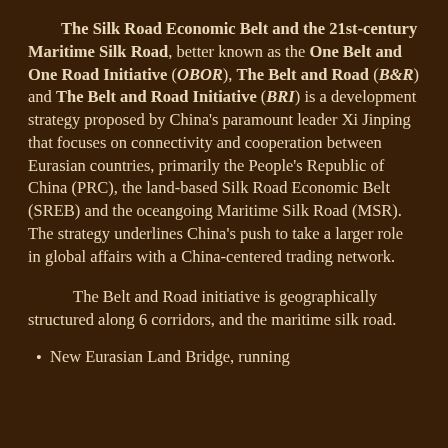The Silk Road Economic Belt and the 21st-century Maritime Silk Road, better known as the One Belt and One Road Initiative (OBOR), The Belt and Road (B&R) and The Belt and Road Initiative (BRI) is a development strategy proposed by China's paramount leader Xi Jinping that focuses on connectivity and cooperation between Eurasian countries, primarily the People's Republic of China (PRC), the land-based Silk Road Economic Belt (SREB) and the oceangoing Maritime Silk Road (MSR). The strategy underlines China's push to take a larger role in global affairs with a China-centered trading network.
The Belt and Road initiative is geographically structured along 6 corridors, and the maritime silk road.
New Eurasian Land Bridge, running